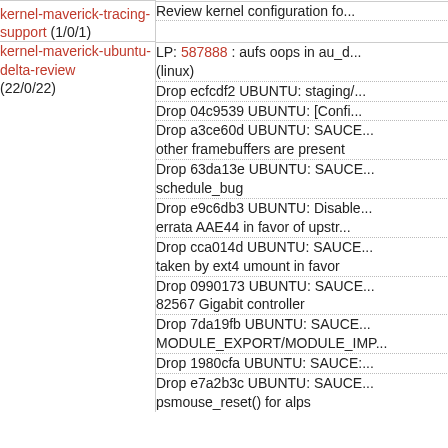| Blueprint | Work Items |
| --- | --- |
| kernel-maverick-tracing-support (1/0/1) | Review kernel configuration fo... |
| kernel-maverick-ubuntu-delta-review (22/0/22) | LP: 587888 : aufs oops in au_d... (linux) |
|  | Drop ecfcdf2 UBUNTU: staging/... |
|  | Drop 04c9539 UBUNTU: [Config... |
|  | Drop a3ce60d UBUNTU: SAUCE... other framebuffers are present |
|  | Drop 63da13e UBUNTU: SAUCE... schedule_bug |
|  | Drop e9c6db3 UBUNTU: Disable... errata AAE44 in favor of upstr... |
|  | Drop cca014d UBUNTU: SAUCE... taken by ext4 umount in favor |
|  | Drop 0990173 UBUNTU: SAUCE... 82567 Gigabit controller |
|  | Drop 7da19fb UBUNTU: SAUCE... MODULE_EXPORT/MODULE_IMP... |
|  | Drop 1980cfa UBUNTU: SAUCE:... |
|  | Drop e7a2b3c UBUNTU: SAUCE... psmouse_reset() for alps |